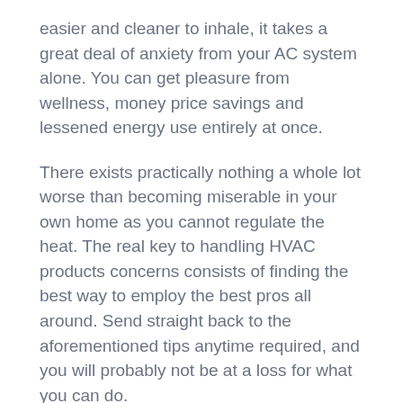easier and cleaner to inhale, it takes a great deal of anxiety from your AC system alone. You can get pleasure from wellness, money price savings and lessened energy use entirely at once.
There exists practically nothing a whole lot worse than becoming miserable in your own home as you cannot regulate the heat. The real key to handling HVAC products concerns consists of finding the best way to employ the best pros all around. Send straight back to the aforementioned tips anytime required, and you will probably not be at a loss for what you can do.
https://www.eheatcool.com/services/heating/furnace-repair/gresham-furnace-repair/